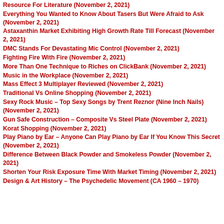Resource For Literature (November 2, 2021)
Everything You Wanted to Know About Tasers But Were Afraid to Ask (November 2, 2021)
Astaxanthin Market Exhibiting High Growth Rate Till Forecast (November 2, 2021)
DMC Stands For Devastating Mic Control (November 2, 2021)
Fighting Fire With Fire (November 2, 2021)
More Than One Technique to Riches on ClickBank (November 2, 2021)
Music in the Workplace (November 2, 2021)
Mass Effect 3 Multiplayer Reviewed (November 2, 2021)
Traditional Vs Online Shopping (November 2, 2021)
Sexy Rock Music – Top Sexy Songs by Trent Reznor (Nine Inch Nails) (November 2, 2021)
Gun Safe Construction – Composite Vs Steel Plate (November 2, 2021)
Korat Shopping (November 2, 2021)
Play Piano by Ear – Anyone Can Play Piano by Ear If You Know This Secret (November 2, 2021)
Difference Between Black Powder and Smokeless Powder (November 2, 2021)
Shorten Your Risk Exposure Time With Market Timing (November 2, 2021)
Design & Art History – The Psychedelic Movement (CA 1960 – 1970)